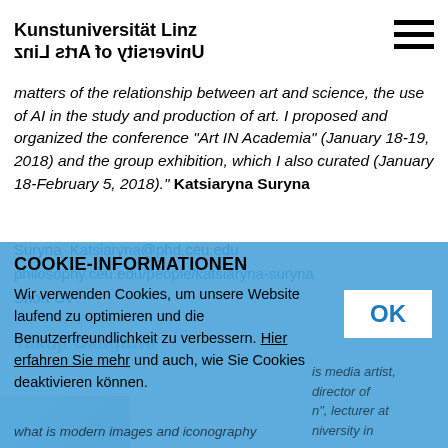Kunstuniversität Linz / University of Arts Linz
matters of the relationship between art and science, the use of AI in the study and production of art. I proposed and organized the conference "Art IN Academia" (January 18-19, 2018) and the group exhibition, which I also curated (January 18-February 5, 2018)." Katsiaryna Suryna
Suryna_Katsiaryna@phd.ceu.edu
philosophy.ceu.edu/people/katsiaryna-suryna
Short CV
COOKIE-INFORMATIONEN
Wir verwenden Cookies, um unsere Website laufend zu optimieren und die Benutzerfreundlichkeit zu verbessern. Hier erfahren Sie mehr und auch, wie Sie Cookies deaktivieren können.
Takuji Okagawa ... is media artist, director of ... lecturer at ... university in ... His research focuses on exploring what is modern images and iconography